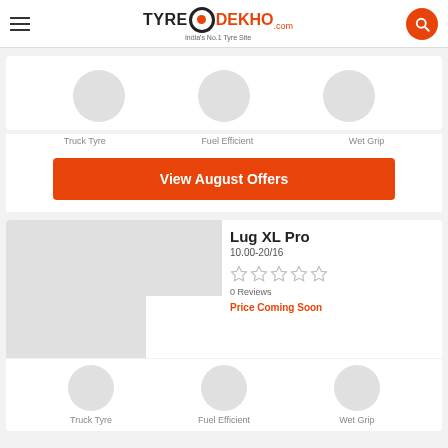TyreDekho.com — India's No.1 Tyre Site
[Figure (illustration): Three grey placeholder circles representing category icons: Truck Tyre, Fuel Efficient, Wet Grip]
Truck Tyre
Fuel Efficient
Wet Grip
View August Offers
[Figure (photo): Grey placeholder image for a tyre product (Lug XL Pro) and a smaller thumbnail]
Lug XL Pro
10.00-20/16
0 Reviews
Price Coming Soon
Truck Tyre
Fuel Efficient
Wet Grip